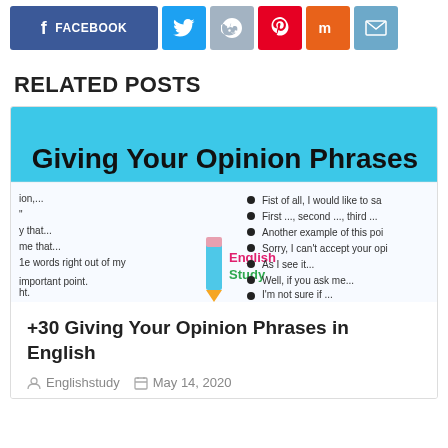[Figure (screenshot): Social media sharing buttons: Facebook, Twitter, Reddit, Pinterest, Mix, Email]
RELATED POSTS
[Figure (infographic): Infographic titled 'Giving Your Opinion Phrases' with a cyan/blue header, showing English opinion phrases in two columns with bullet points, and an English Study pencil logo in the center.]
+30 Giving Your Opinion Phrases in English
Englishstudy   May 14, 2020